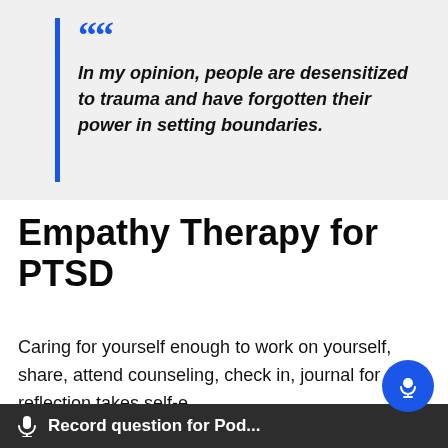In my opinion, people are desensitized to trauma and have forgotten their power in setting boundaries.
Empathy Therapy for PTSD
Caring for yourself enough to work on yourself, share, attend counseling, check in, journal for self-reflection takes self-e... and PTSD...
Record question for Pod...